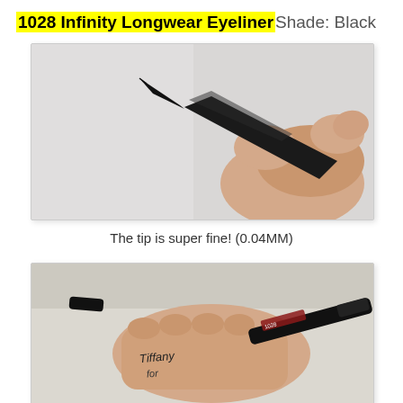1028 Infinity Longwear Eyeliner Shade: Black
[Figure (photo): Close-up photo of a hand holding a black eyeliner pen with a very fine tip, angled upward against a light grey background.]
The tip is super fine! (0.04MM)
[Figure (photo): Photo of a hand holding a black eyeliner, writing the name 'Tiffany' on the back of the hand. The eyeliner cap is placed separately to the left.]